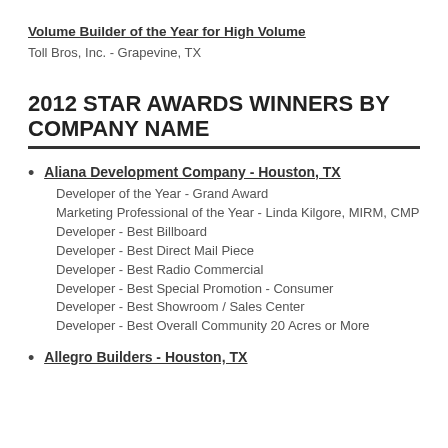Volume Builder of the Year for High Volume
Toll Bros, Inc. - Grapevine, TX
2012 STAR AWARDS WINNERS BY COMPANY NAME
Aliana Development Company - Houston, TX
Developer of the Year - Grand Award
Marketing Professional of the Year - Linda Kilgore, MIRM, CMP
Developer - Best Billboard
Developer - Best Direct Mail Piece
Developer - Best Radio Commercial
Developer - Best Special Promotion - Consumer
Developer - Best Showroom / Sales Center
Developer - Best Overall Community 20 Acres or More
Allegro Builders - Houston, TX